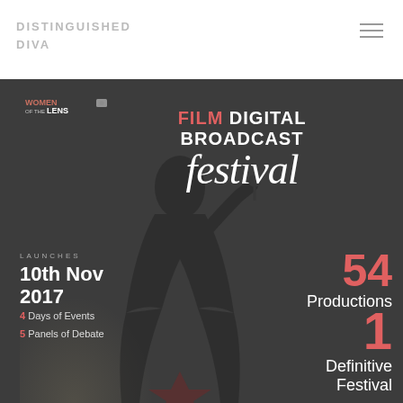Distinguished Diva
[Figure (photo): Women of the Lens Film Digital Broadcast Festival promotional image. Dark background with silhouette of a person, festival text overlay: FILM DIGITAL BROADCAST festival. Launches 10th Nov 2017. 54 Productions. 4 Days of Events. 5 Panels of Debate. 1 Definitive Festival.]